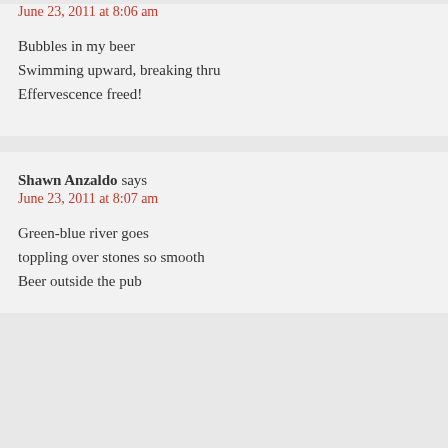Shawn Anzaldo says
June 23, 2011 at 8:06 am
Bubbles in my beer
Swimming upward, breaking thru
Effervescence freed!
Shawn Anzaldo says
June 23, 2011 at 8:07 am
Green-blue river goes
toppling over stones so smooth
Beer outside the pub